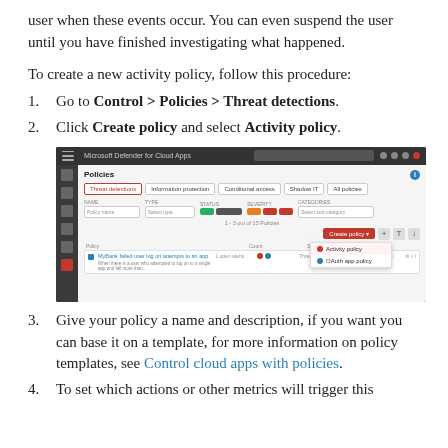user when these events occur. You can even suspend the user until you have finished investigating what happened.
To create a new activity policy, follow this procedure:
1. Go to Control > Policies > Threat detections.
2. Click Create policy and select Activity policy.
[Figure (screenshot): Screenshot of Microsoft Defender for Cloud Apps interface showing the Policies page with Threat detections tab selected, filter controls, a Create policy dropdown with Activity policy and OAuth app policy options highlighted.]
3. Give your policy a name and description, if you want you can base it on a template, for more information on policy templates, see Control cloud apps with policies.
4. To set which actions or other metrics will trigger this